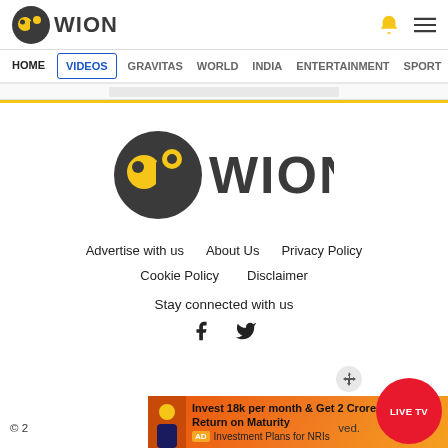[Figure (logo): WION logo small in header — dark circle with yellow face icon and WION text]
HOME  VIDEOS  GRAVITAS  WORLD  INDIA  ENTERTAINMENT  SPORTS
[Figure (logo): WION logo large centered — dark circle with yellow face icon and WION text]
Advertise with us   About Us   Privacy Policy
Cookie Policy   Disclaimer
Stay connected with us
[Figure (infographic): Facebook and Twitter social media icons]
© 2  ...served.
[Figure (infographic): Ad banner: Invest 18k per month & Get 2 Crore Return on Maturity — AD Investment Plans for NRIs]
[Figure (other): LIVE TV red circle button]